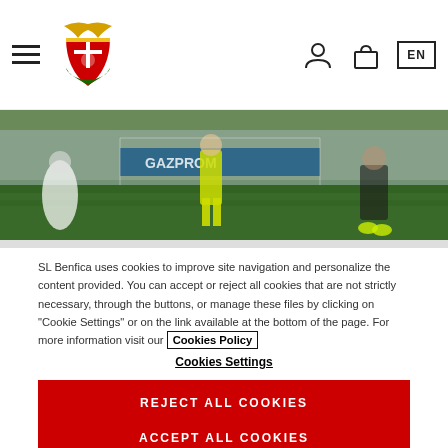SL Benfica website navigation bar with hamburger menu, logo, user icon, bag icon, and EN language selector
[Figure (photo): Football match scene on grass pitch with players visible, advertising boards in background showing Gazprom or similar sponsor text]
SL Benfica uses cookies to improve site navigation and personalize the content provided. You can accept or reject all cookies that are not strictly necessary, through the buttons, or manage these files by clicking on "Cookie Settings" or on the link available at the bottom of the page. For more information visit our Cookies Policy
Cookies Settings
REJECT ALL COOKIES
ACCEPT ALL COOKIES